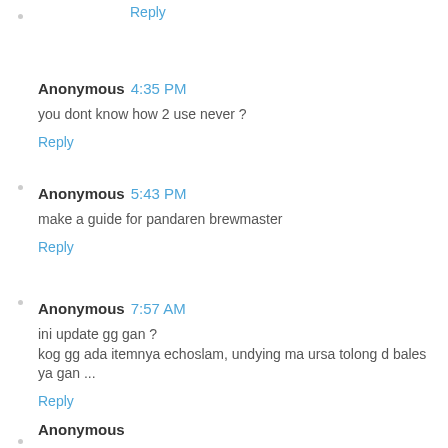Reply
Anonymous 4:35 PM
you dont know how 2 use never ?
Reply
Anonymous 5:43 PM
make a guide for pandaren brewmaster
Reply
Anonymous 7:57 AM
ini update gg gan ?
kog gg ada itemnya echoslam, undying ma ursa tolong d bales ya gan ...
Reply
Anonymous